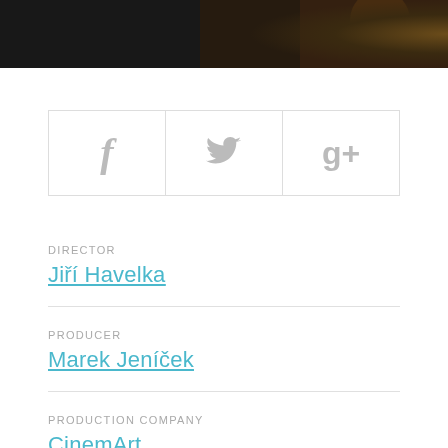[Figure (photo): Dark cinematic still from a film, showing a dimly lit scene with warm tones on the right side]
[Figure (infographic): Social media sharing buttons: Facebook (f), Twitter (bird icon), Google+ (g+) arranged in a row with borders]
DIRECTOR
Jiří Havelka
PRODUCER
Marek Jeníček
PRODUCTION COMPANY
CinemArt